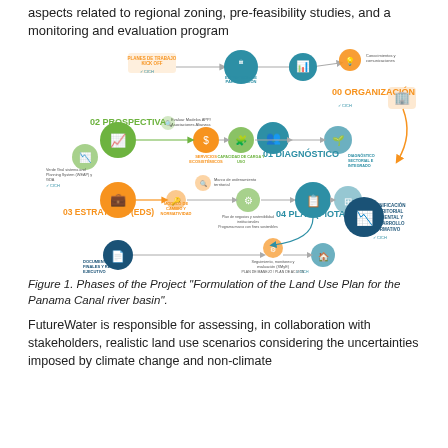aspects related to regional zoning, pre-feasibility studies, and a monitoring and evaluation program
[Figure (flowchart): Flowchart showing phases of the Land Use Plan project for the Panama Canal river basin. Phases: 00 Organización, 01 Diagnóstico, 02 Prospectiva, 03 Estrategia (EDS), 04 Plan (PIOTA), with sub-steps and icons connected by arrows. Includes CICH checkmarks at various steps.]
Figure 1. Phases of the Project "Formulation of the Land Use Plan for the Panama Canal river basin".
FutureWater is responsible for assessing, in collaboration with stakeholders, realistic land use scenarios considering the uncertainties imposed by climate change and non-climate